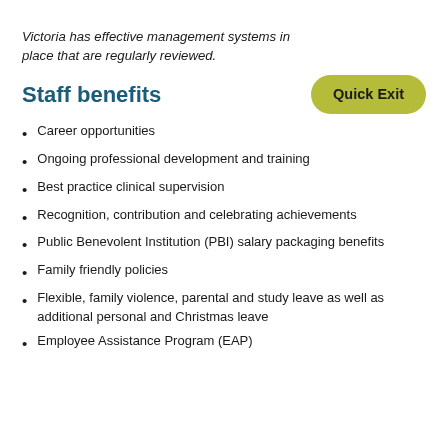Victoria has effective management systems in place that are regularly reviewed.
Staff benefits
Career opportunities
Ongoing professional development and training
Best practice clinical supervision
Recognition, contribution and celebrating achievements
Public Benevolent Institution (PBI) salary packaging benefits
Family friendly policies
Flexible, family violence, parental and study leave as well as additional personal and Christmas leave
Employee Assistance Program (EAP)